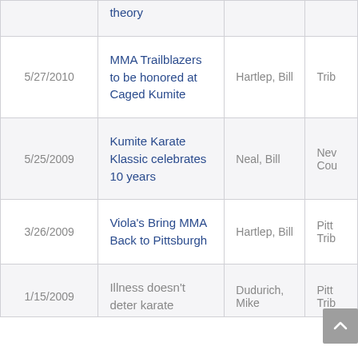| Date | Title | Author | Source |
| --- | --- | --- | --- |
|  | theory |  |  |
| 5/27/2010 | MMA Trailblazers to be honored at Caged Kumite | Hartlep, Bill | Trib |
| 5/25/2009 | Kumite Karate Klassic celebrates 10 years | Neal, Bill | New Cou |
| 3/26/2009 | Viola's Bring MMA Back to Pittsburgh | Hartlep, Bill | Pitt Trib |
| 1/15/2009 | Illness doesn't deter karate | Dudurich, Mike | Pitt Trib |